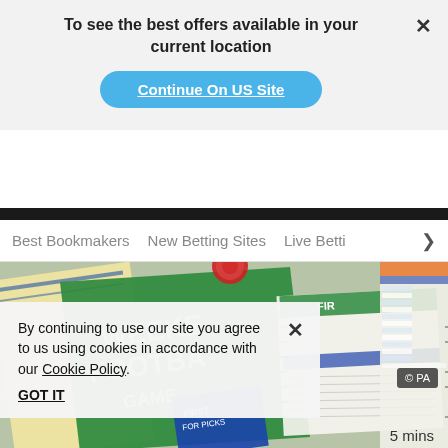To see the best offers available in your current location
Continue On US Site
Best Bookmakers   New Betting Sites   Live Betti
[Figure (photo): Overhead photo of football betting sheets and programmes including green Weekend Football Game cards and white scoring sheets with columns of odds and names]
By continuing to use our site you agree to us using cookies in accordance with our Cookie Policy.
GOT IT
© PA
5 mins